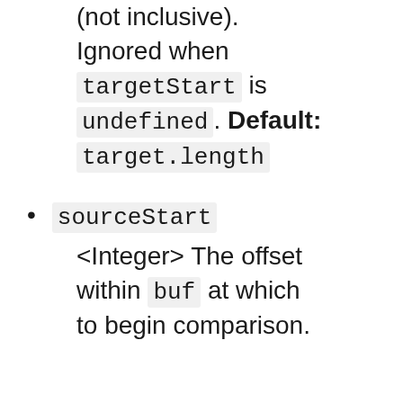(not inclusive). Ignored when targetStart is undefined. Default: target.length
sourceStart <Integer> The offset within buf at which to begin comparison.